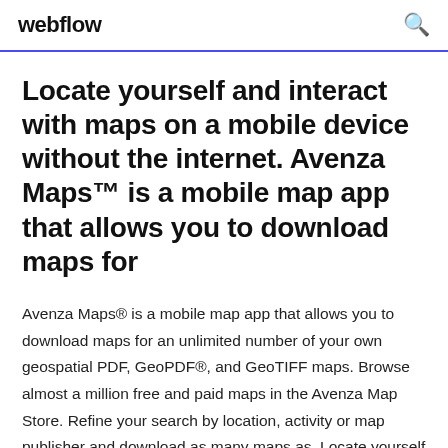webflow
Locate yourself and interact with maps on a mobile device without the internet. Avenza Maps™ is a mobile map app that allows you to download maps for
Avenza Maps® is a mobile map app that allows you to download maps for an unlimited number of your own geospatial PDF, GeoPDF®, and GeoTIFF maps. Browse almost a million free and paid maps in the Avenza Map Store. Refine your search by location, activity or map publisher and download as many maps as  Locate yourself and interact with maps on a mobile device